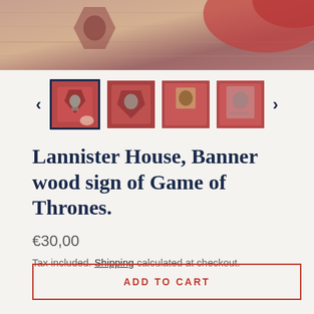[Figure (photo): Top portion of a product photo showing a red wooden banner/shield sign with a lion emblem (Game of Thrones Lannister house), placed on a wooden surface with a red cloth.]
[Figure (photo): Thumbnail gallery strip with 4 product thumbnails and left/right navigation arrows. First thumbnail is selected (bordered). All thumbnails show the Lannister house banner wood sign from different angles.]
Lannister House, Banner wood sign of Game of Thrones.
€30,00
Tax included. Shipping calculated at checkout.
ADD TO CART